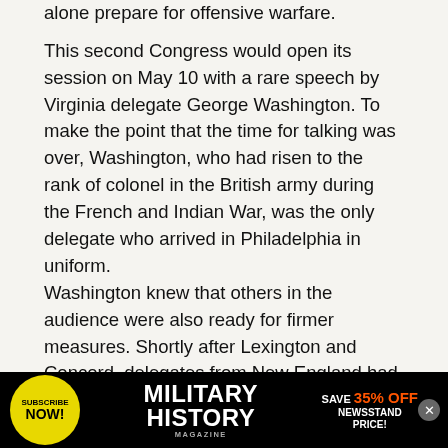alone prepare for offensive warfare.
This second Congress would open its session on May 10 with a rare speech by Virginia delegate George Washington. To make the point that the time for talking was over, Washington, who had risen to the rank of colonel in the British army during the French and Indian War, was the only delegate who arrived in Philadelphia in uniform.
Washington knew that others in the audience were also ready for firmer measures. Shortly after Lexington and Concord, delegates from New England had stopped their carriages en route to Congress for a secret meeting in Hartford, Connecticut. There, while the Connecticut Assembly was officially adjourned, they supported
[Figure (infographic): Advertisement banner for Military History Magazine: black background with yellow circle 'SUBSCRIBE NOW!' on the left, 'MILITARY HISTORY MAGAZINE' in white bold text in the center, and 'SAVE 35% OFF NEWSSTAND PRICE!' in orange/white text on the right, with a close (X) button.]